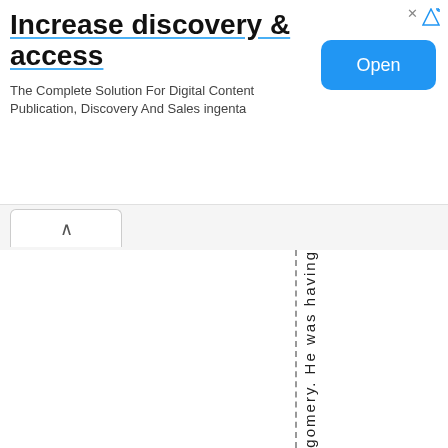[Figure (other): Advertisement banner for ingenta. Title: 'Increase discovery & access'. Subtitle: 'The Complete Solution For Digital Content Publication, Discovery And Sales ingenta'. Blue 'Open' button on right.]
[Figure (other): Navigation tab bar with a chevron/up-arrow tab button on the left.]
in Montgomery. He was having